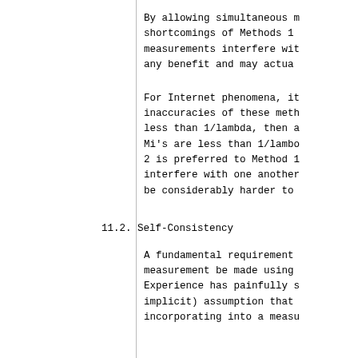By allowing simultaneous m... shortcomings of Methods 1... measurements interfere wit... any benefit and may actua...
For Internet phenomena, it... inaccuracies of these meth... less than 1/lambda, then a... Mi's are less than 1/lambo... 2 is preferred to Method 1... interfere with one another... be considerably harder to...
11.2. Self-Consistency
A fundamental requirement... measurement be made using... Experience has painfully s... implicit) assumption that... incorporating into a measu...